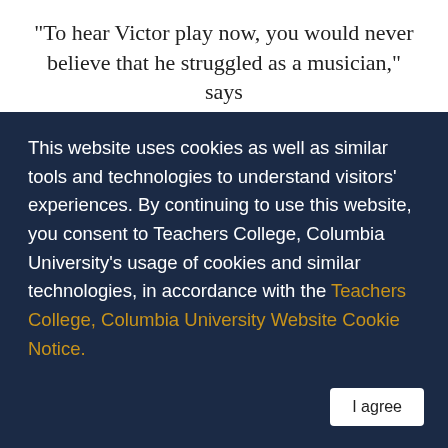“To hear Victor play now, you would never believe that he struggled as a musician,” says
This website uses cookies as well as similar tools and technologies to understand visitors’ experiences. By continuing to use this website, you consent to Teachers College, Columbia University’s usage of cookies and similar technologies, in accordance with the Teachers College, Columbia University Website Cookie Notice.